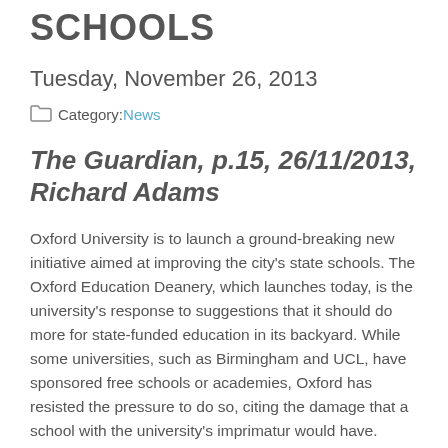SCHOOLS
Tuesday, November 26, 2013
Category: News
The Guardian, p.15, 26/11/2013, Richard Adams
Oxford University is to launch a ground-breaking new initiative aimed at improving the city's state schools. The Oxford Education Deanery, which launches today, is the university's response to suggestions that it should do more for state-funded education in its backyard. While some universities, such as Birmingham and UCL, have sponsored free schools or academies, Oxford has resisted the pressure to do so, citing the damage that a school with the university's imprimatur would have. Instead, the university has embarked on an ambitious project to raise the profile and overall attainment of the